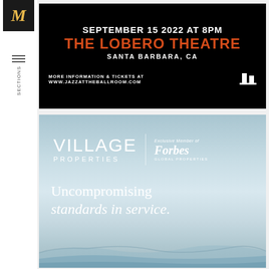[Figure (other): Sidebar with M logo (yellow italic M on black background) and Sections menu icon]
[Figure (other): Jazz at the Ballroom advertisement on black background. Text: SEPTEMBER 15 2022 at 8PM / THE LOBERO THEATRE / SANTA BARBARA, CA / MORE INFORMATION & TICKETS AT WWW.JAZZATTHEBALLROOM.COM with logo]
[Figure (other): Village Properties advertisement with sky and water background. Shows VILLAGE PROPERTIES logo with Forbes Global Properties exclusive member badge and tagline: Uncompromising standards in service.]